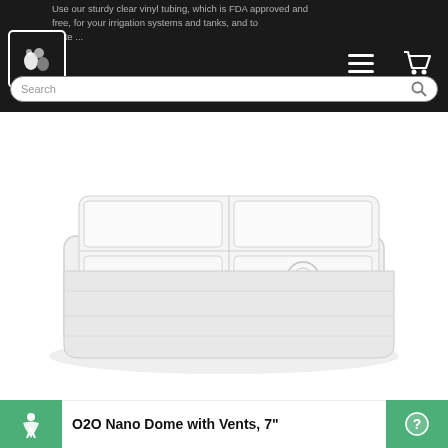Use our sturdy clear vinyl tubing, which is FDA approved and free, for your irrigation systems and tanks, and to complete ...
[Figure (screenshot): E-commerce website navigation bar with logo, hamburger menu icon, cart icon, and search bar]
[Figure (photo): Clear plastic O2O Nano Dome with Vents, 7 inch product photo on white background]
O2O Nano Dome with Vents, 7"